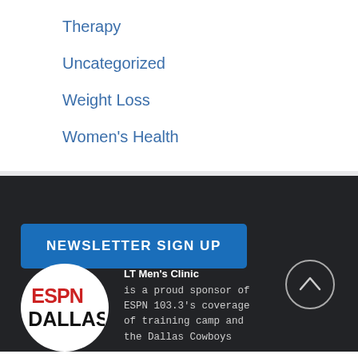Therapy
Uncategorized
Weight Loss
Women's Health
NEWSLETTER SIGN UP
[Figure (logo): ESPN Dallas logo in white circle on dark background]
LT Men's Clinic is a proud sponsor of ESPN 103.3's coverage of training camp and the Dallas Cowboys